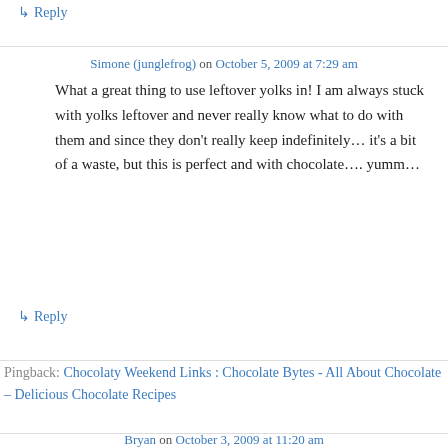↳ Reply
Simone (junglefrog) on October 5, 2009 at 7:29 am
What a great thing to use leftover yolks in! I am always stuck with yolks leftover and never really know what to do with them and since they don't really keep indefinitely… it's a bit of a waste, but this is perfect and with chocolate…. yumm…
↳ Reply
Pingback: Chocolaty Weekend Links : Chocolate Bytes - All About Chocolate – Delicious Chocolate Recipes
Bryan on October 3, 2009 at 11:20 am